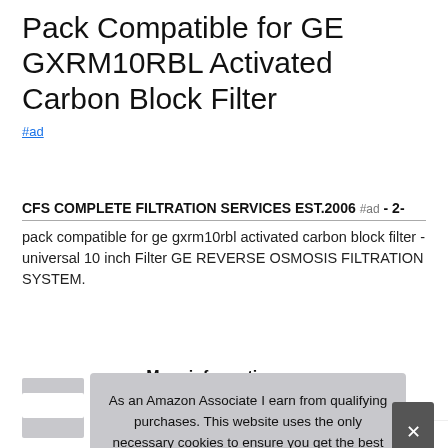Pack Compatible for GE GXRM10RBL Activated Carbon Block Filter
#ad
CFS COMPLETE FILTRATION SERVICES EST.2006 #ad - 2-pack compatible for ge gxrm10rbl activated carbon block filter - universal 10 inch Filter GE REVERSE OSMOSIS FILTRATION SYSTEM.
More information #ad
As an Amazon Associate I earn from qualifying purchases. This website uses the only necessary cookies to ensure you get the best experience on our website. More information
CFS COMPLETE FILTRATION SERVICES